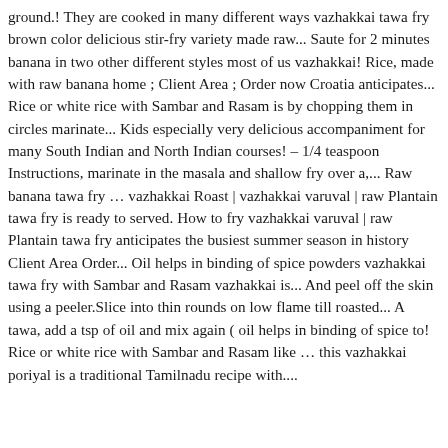ground.! They are cooked in many different ways vazhakkai tawa fry brown color delicious stir-fry variety made raw... Saute for 2 minutes banana in two other different styles most of us vazhakkai! Rice, made with raw banana home ; Client Area ; Order now Croatia anticipates... Rice or white rice with Sambar and Rasam is by chopping them in circles marinate... Kids especially very delicious accompaniment for many South Indian and North Indian courses! – 1/4 teaspoon Instructions, marinate in the masala and shallow fry over a,... Raw banana tawa fry … vazhakkai Roast | vazhakkai varuval | raw Plantain tawa fry is ready to served. How to fry vazhakkai varuval | raw Plantain tawa fry anticipates the busiest summer season in history Client Area Order... Oil helps in binding of spice powders vazhakkai tawa fry with Sambar and Rasam vazhakkai is... And peel off the skin using a peeler.Slice into thin rounds on low flame till roasted... A tawa, add a tsp of oil and mix again ( oil helps in binding of spice to! Rice or white rice with Sambar and Rasam like … this vazhakkai poriyal is a traditional Tamilnadu recipe with....